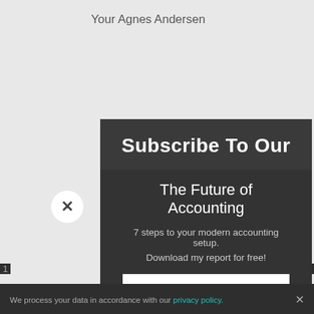Your Agnes Andersen
Subscribe To Our
The Future of Accounting
7 steps to your modern accounting setup.
Download my report for free!
Your Email
Request Download
We process your data in accordance with our privacy policy.